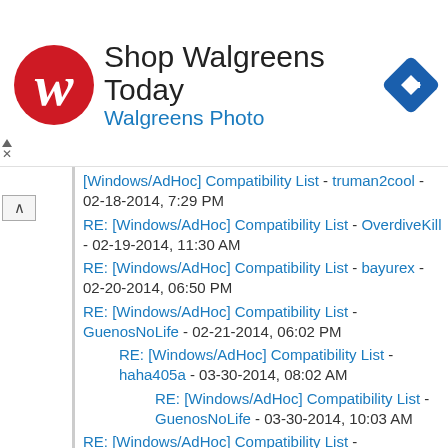[Figure (other): Walgreens advertisement banner: Walgreens logo (red script W), text 'Shop Walgreens Today' in dark, 'Walgreens Photo' in blue, and a blue diamond navigation icon on the right.]
RE: [Windows/AdHoc] Compatibility List - truman2cool - 02-18-2014, 7:29 PM
RE: [Windows/AdHoc] Compatibility List - OverdiveKill - 02-19-2014, 11:30 AM
RE: [Windows/AdHoc] Compatibility List - bayurex - 02-20-2014, 06:50 PM
RE: [Windows/AdHoc] Compatibility List - GuenosNoLife - 02-21-2014, 06:02 PM
RE: [Windows/AdHoc] Compatibility List - haha405a - 03-30-2014, 08:02 AM
RE: [Windows/AdHoc] Compatibility List - GuenosNoLife - 03-30-2014, 10:03 AM
RE: [Windows/AdHoc] Compatibility List - GuenosNoLife - 02-22-2014, 09:18 PM
RE: [Windows/AdHoc] Compatibility List - betrayedAngel - 02-23-2014, 08:26 AM
RE: [Windows/AdHoc] Compatibility List - GuenosNoLife - 02-23-2014, 09:38 AM
RE: [Windows/AdHoc] Compatibility List - betrayedAngel - 02-23-2014, 01:43 PM